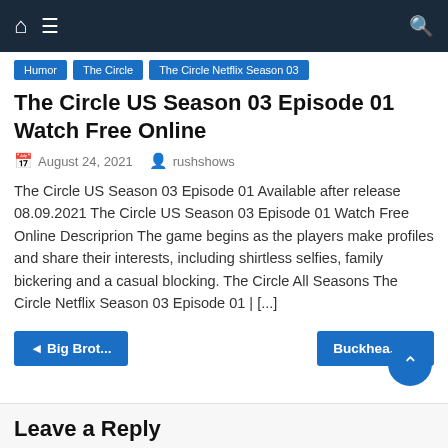Navigation bar with home, menu, and search icons
Humor
The Circle
The Circle Netflix Season 03
The Circle US Season 03 Episode 01 Watch Free Online
August 24, 2021   rushshows
The Circle US Season 03 Episode 01 Available after release 08.09.2021 The Circle US Season 03 Episode 01 Watch Free Online Descriprion The game begins as the players make profiles and share their interests, including shirtless selfies, family bickering and a casual blocking. The Circle All Seasons The Circle Netflix Season 03 Episode 01 | [...]
◄ Big Brot...
Buckhea... ►
Leave a Reply